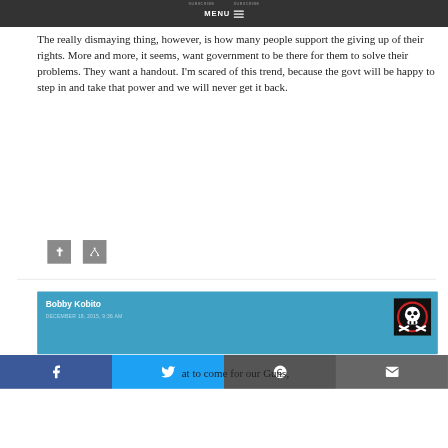MENU
times will increase. S… myself.
The really dismaying thing, however, is how many people support the giving up of their rights. More and more, it seems, want government to be there for them to solve their problems. They want a handout. I'm scared of this trend, because the govt will be happy to step in and take that power and we will never get it back.
[Figure (other): Two small grey social sharing icon buttons]
Bobby Kobito
DECEMBER 18, 2015, 9:36 AM
[Figure (illustration): Skull and crossbones avatar icon in black box with red circle border]
[Figure (infographic): Social share bar with Facebook, Twitter, Reddit, and email icons]
at to come for our Guns,